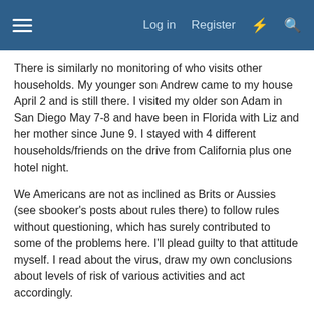Log in  Register
There is similarly no monitoring of who visits other households. My younger son Andrew came to my house April 2 and is still there. I visited my older son Adam in San Diego May 7-8 and have been in Florida with Liz and her mother since June 9. I stayed with 4 different households/friends on the drive from California plus one hotel night.
We Americans are not as inclined as Brits or Aussies (see sbooker's posts about rules there) to follow rules without questioning, which has surely contributed to some of the problems here. I'll plead guilty to that attitude myself. I read about the virus, draw my own conclusions about levels of risk of various activities and act accordingly.
I am a bit annoyed with non-observance of mask wearing indoors or where specifically required, as on my 4 ski days at Baldy and A-Basin. I was grateful to be able to ski at all under the circumstances. If a business is making the effort to be open